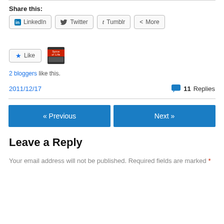Share this:
LinkedIn  Twitter  Tumblr  More
Like
2 bloggers like this.
2011/12/17    11 Replies
« Previous   Next »
Leave a Reply
Your email address will not be published. Required fields are marked *